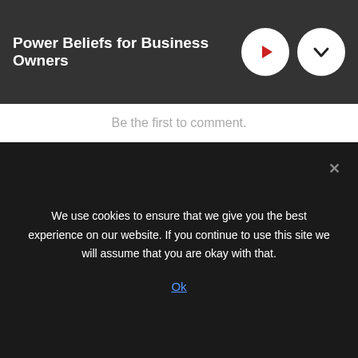Power Beliefs for Business Owners
Be the first to comment.
✉ Subscribe  Ⓓ Add Disqus  ⚠ Do Not Sell My Data   DISQUS
We use cookies to ensure that we give you the best experience on our website. If you continue to use this site we will assume that you are okay with that.
Ok